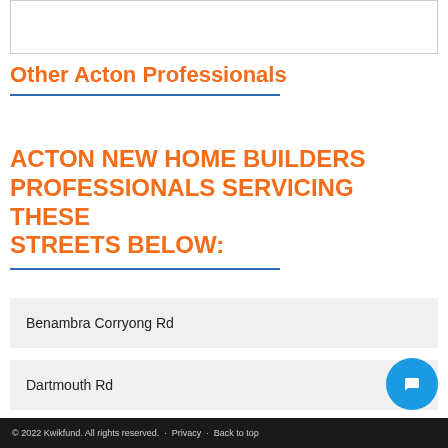[Figure (other): Empty white box/image placeholder at top of page]
Other Acton Professionals
ACTON NEW HOME BUILDERS PROFESSIONALS SERVICING THESE STREETS BELOW:
Benambra Corryong Rd
Dartmouth Rd
© 2022 Kwikfund. All rights reserved. · Privacy · Back to top